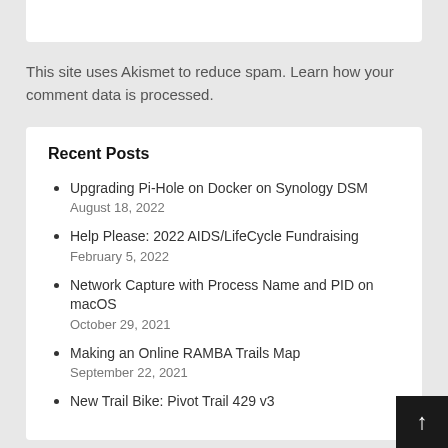This site uses Akismet to reduce spam. Learn how your comment data is processed.
Recent Posts
Upgrading Pi-Hole on Docker on Synology DSM
August 18, 2022
Help Please: 2022 AIDS/LifeCycle Fundraising
February 5, 2022
Network Capture with Process Name and PID on macOS
October 29, 2021
Making an Online RAMBA Trails Map
September 22, 2021
New Trail Bike: Pivot Trail 429 v3